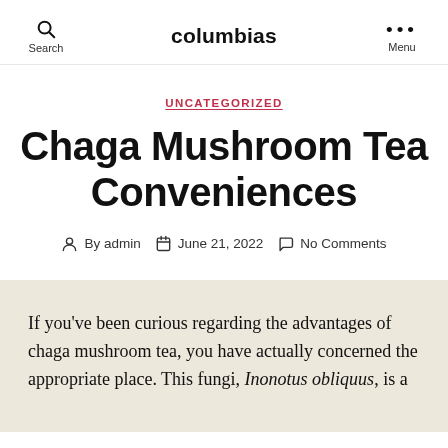columbias
UNCATEGORIZED
Chaga Mushroom Tea Conveniences
By admin   June 21, 2022   No Comments
If you've been curious regarding the advantages of chaga mushroom tea, you have actually concerned the appropriate place. This fungi, Inonotus obliquus, is a